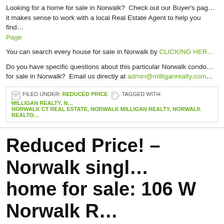Looking for a home for sale in Norwalk?  Check out our Buyer's page – it makes sense to work with a local Real Estate Agent to help you find… Page
You can search every house for sale in Norwalk by CLICKING HERE
Do you have specific questions about this particular Norwalk condo … for sale in Norwalk?  Email us directly at admin@milliganrealty.com
FILED UNDER: REDUCED PRICE   TAGGED WITH: MILLIGAN REALTY, N… NORWALK CT REAL ESTATE, NORWALK MILLIGAN REALTY, NORWALK REALTO…
Reduced Price! – Norwalk singl… home for sale: 106 W Norwalk R…
SEPTEMBER 4, 2019 BY TODD
[Figure (photo): Partial image strip at bottom of page showing a house or property photo]